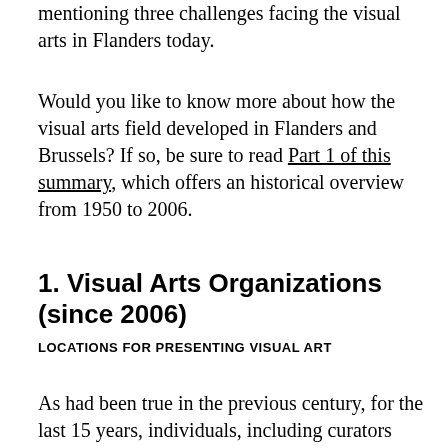mentioning three challenges facing the visual arts in Flanders today.
Would you like to know more about how the visual arts field developed in Flanders and Brussels? If so, be sure to read Part 1 of this summary, which offers an historical overview from 1950 to 2006.
1. Visual Arts Organizations (since 2006)
LOCATIONS FOR PRESENTING VISUAL ART
As had been true in the previous century, for the last 15 years, individuals, including curators and/or art